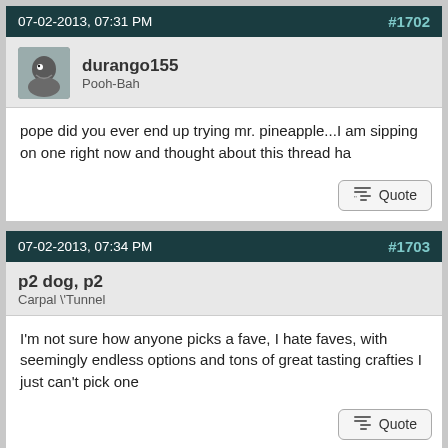07-02-2013, 07:31 PM   #1702
durango155
Pooh-Bah
pope did you ever end up trying mr. pineapple...I am sipping on one right now and thought about this thread ha
07-02-2013, 07:34 PM   #1703
p2 dog, p2
Carpal \Tunnel
I'm not sure how anyone picks a fave, I hate faves, with seemingly endless options and tons of great tasting crafties I just can't pick one